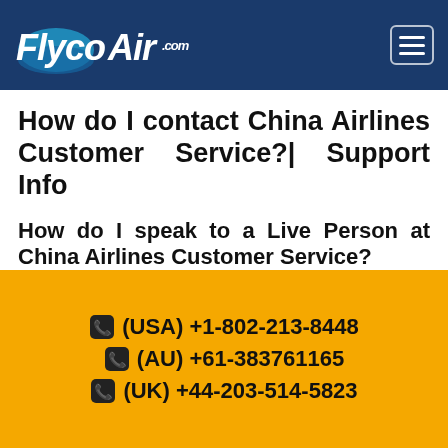FlycoAir.com
How do I contact China Airlines Customer Service?| Support Info
How do I speak to a Live Person at China Airlines Customer Service?
China airline is one of the best airlines that not only provide the best facilities during the travel but also the customer support. But not many of us are aware of how we can get the help of customer service experts. So, we
(USA) +1-802-213-8448
(AU) +61-383761165
(UK) +44-203-514-5823